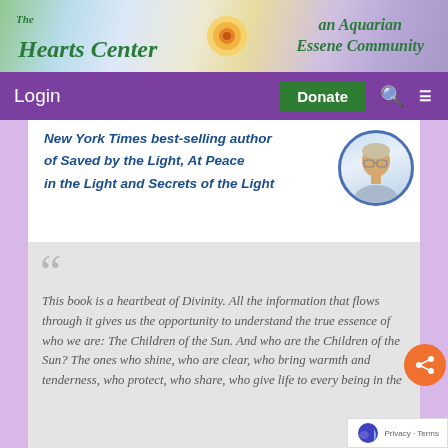[Figure (logo): The Hearts Center - an Aquarian Essene Community banner with floral logo]
Login | Donate | Search | Menu
New York Times best-selling author of Saved by the Light, At Peace in the Light and Secrets of the Light
[Figure (photo): Circular portrait photo of a man]
This book is a heartbeat of Divinity. All the information that flows through it gives us the opportunity to understand the true essence of who we are: The Children of the Sun. And who are the Children of the Sun? The ones who shine, who are clear, who bring warmth and tenderness, who protect, who share, who give life to every being in the